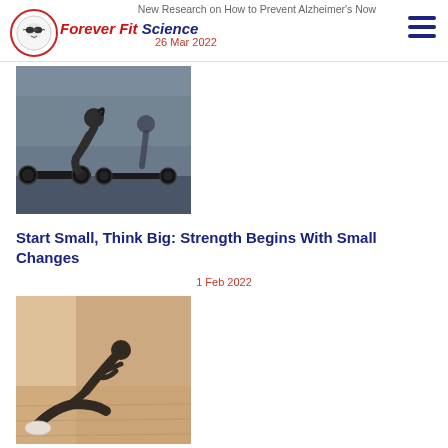New Research on How to Prevent Alzheimer's Now | Forever Fit Science | 26 Mar 2022
[Figure (photo): Woman lifting barbells in a gym, weightlifting scene]
Start Small, Think Big: Strength Begins With Small Changes
1 Feb 2022
[Figure (photo): Man doing sit-ups or core exercises on a light wooden floor]